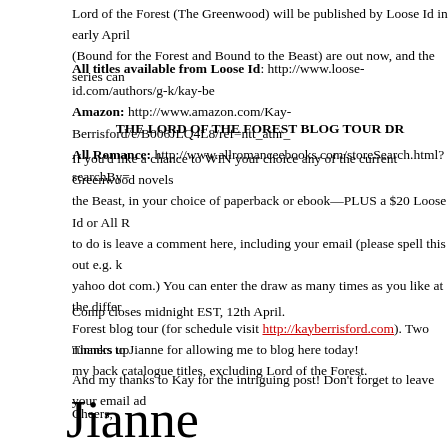Lord of the Forest (The Greenwood) will be published by Loose Id in early April (Bound for the Forest and Bound to the Beast) are out now, and the series can
All titles available from Loose Id: http://www.loose-id.com/authors/g-k/kay-be
Amazon: http://www.amazon.com/Kay-Berrisford/e/B006JLQ4L8/ref=ntt_athr_
All Romance: http://www.allromanceebooks.com/storeSearch.html?searchBy=
THE LORD OF THE FOREST BLOG TOUR DR
If you'd like a chance to WIN your choice any of the current Greenwood novels the Beast, in your choice of paperback or ebook—PLUS a $20 Loose Id or All R to do is leave a comment here, including your email (please spell this out e.g. k yahoo dot com.) You can enter the draw as many times as you like at the differ Forest blog tour (for schedule visit http://kayberrisford.com). Two runners up my back catalogue titles, excluding Lord of the Forest.
Comp closes midnight EST, 12th April.
Thanks to Jianne for allowing me to blog here today!
And my thanks to Kay for the intriguing post! Don't forget to leave your email ad
Cheers,
Jianne